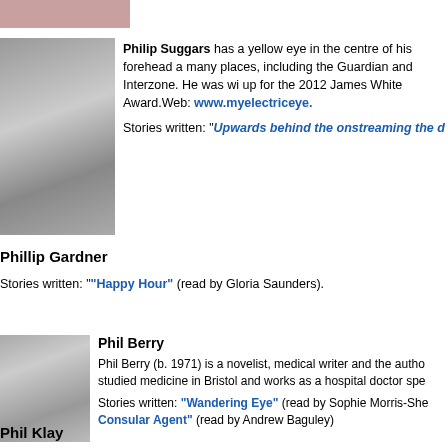[Figure (photo): Partial photo of a person, cropped at top]
Philip Suggars has a yellow eye in the centre of his forehead a many places, including the Guardian and Interzone. He was wi up for the 2012 James White Award. Web: www.myelectriceye.
Stories written: "Upwards behind the onstreaming the d
Phillip Gardner
Stories written: "Happy Hour" (read by Gloria Saunders).
[Figure (photo): Headshot of Phil Berry, bald man in light shirt]
Phil Berry
Phil Berry (b. 1971) is a novelist, medical writer and the autho studied medicine in Bristol and works as a hospital doctor spe
Stories written: "Wandering Eye" (read by Sophie Morris-She "Consular Agent" (read by Andrew Baguley)
Phil Klay